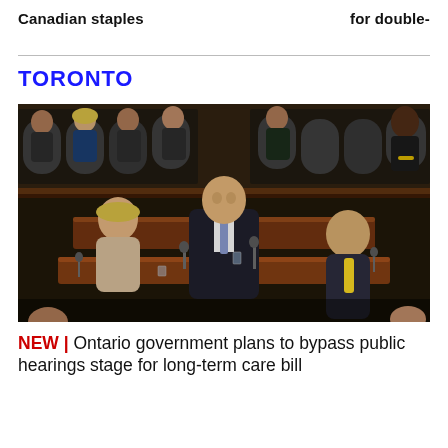Canadian staples   for double-
TORONTO
[Figure (photo): A man in a dark suit and blue tie stands speaking at a legislative chamber desk, surrounded by seated politicians in formal attire. The chamber has dark wood paneling, microphones, and multiple rows of seats.]
NEW | Ontario government plans to bypass public hearings stage for long-term care bill